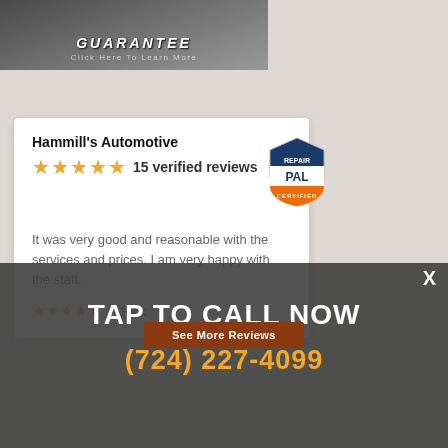[Figure (photo): Top banner with 'GUARANTEE – Click Here To Learn More' text overlay on dark background with partial car/person image]
[Figure (screenshot): RepairPal Certified badge logo – shield shape with blue 'REPAIR PAL' text and orange 'CERTIFIED' banner]
Hammill's Automotive
★★★★★  15 verified reviews
It was very good and reasonable with the services and prices. I am very happy with the staff.
★★★★★  – Rick
TAP TO CALL NOW
(724) 227-4099